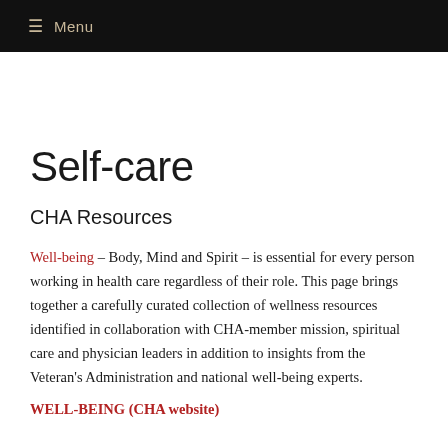≡ Menu
Self-care
CHA Resources
Well-being – Body, Mind and Spirit – is essential for every person working in health care regardless of their role. This page brings together a carefully curated collection of wellness resources identified in collaboration with CHA-member mission, spiritual care and physician leaders in addition to insights from the Veteran's Administration and national well-being experts.
WELL-BEING (CHA website)